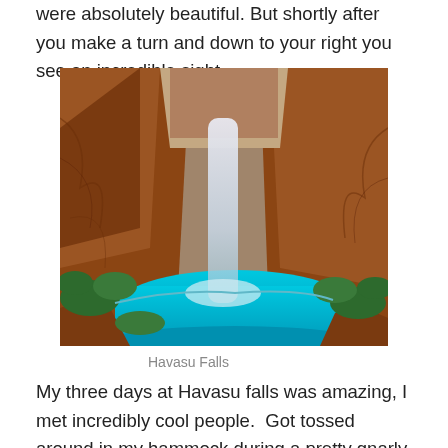were absolutely beautiful. But shortly after you make a turn and down to your right you see an incredible sight.
[Figure (photo): Havasu Falls – a tall waterfall cascading down red canyon walls into a vivid turquoise pool, surrounded by green vegetation and red rock formations.]
Havasu Falls
My three days at Havasu falls was amazing, I met incredibly cool people.  Got tossed around in my hammock during a pretty gnarly storm and honestly spent the entire